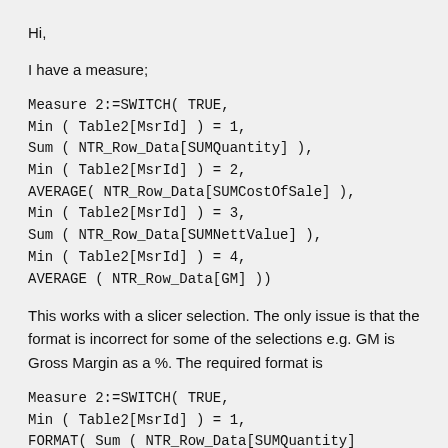Hi,
I have a measure;
Measure 2:=SWITCH( TRUE,
Min ( Table2[MsrId] ) = 1,
Sum ( NTR_Row_Data[SUMQuantity] ),
Min ( Table2[MsrId] ) = 2,
AVERAGE( NTR_Row_Data[SUMCostOfSale] ),
Min ( Table2[MsrId] ) = 3,
Sum ( NTR_Row_Data[SUMNettValue] ),
Min ( Table2[MsrId] ) = 4,
AVERAGE ( NTR_Row_Data[GM] ))
This works with a slicer selection. The only issue is that the format is incorrect for some of the selections e.g. GM is Gross Margin as a %. The required format is
Measure 2:=SWITCH( TRUE,
Min ( Table2[MsrId] ) = 1,
FORMAT( Sum ( NTR_Row_Data[SUMQuantity] ),"#,#0"),
Min ( Table2[MsrId] ) = 2,